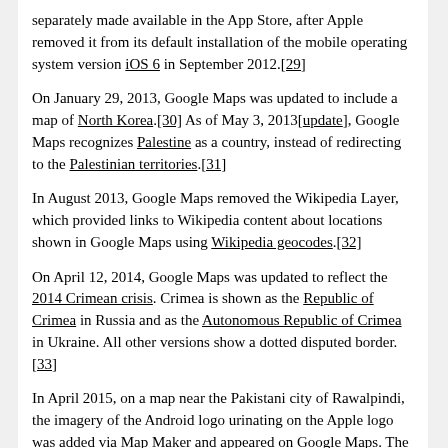separately made available in the App Store, after Apple removed it from its default installation of the mobile operating system version iOS 6 in September 2012.[29]
On January 29, 2013, Google Maps was updated to include a map of North Korea.[30] As of May 3, 2013[update], Google Maps recognizes Palestine as a country, instead of redirecting to the Palestinian territories.[31]
In August 2013, Google Maps removed the Wikipedia Layer, which provided links to Wikipedia content about locations shown in Google Maps using Wikipedia geocodes.[32]
On April 12, 2014, Google Maps was updated to reflect the 2014 Crimean crisis. Crimea is shown as the Republic of Crimea in Russia and as the Autonomous Republic of Crimea in Ukraine. All other versions show a dotted disputed border.[33]
In April 2015, on a map near the Pakistani city of Rawalpindi, the imagery of the Android logo urinating on the Apple logo was added via Map Maker and appeared on Google Maps. The vandalism was soon removed and Google published an apology.[34] However, according to Google...